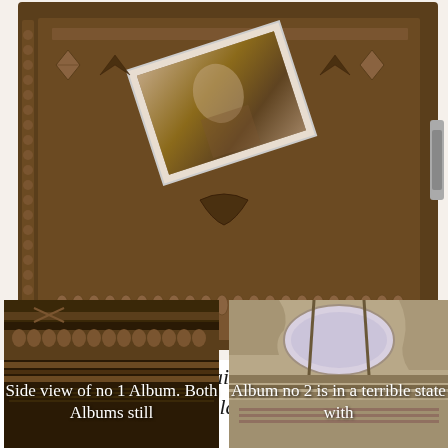[Figure (photo): Top-down view of an ornate antique photo album cover with decorative carved border patterns and a small vintage photograph placed diagonally on top]
Album no 1 is in fairly good condition although the clasp is missing.
[Figure (photo): Side view of antique album no 1 showing decorative carved edge detail with label 'Side view of no 1 Album. Both Albums still']
[Figure (photo): Close-up of album no 2 showing damaged spine/binding with oval cutout, label reads 'Album no 2 is in a terrible state with']